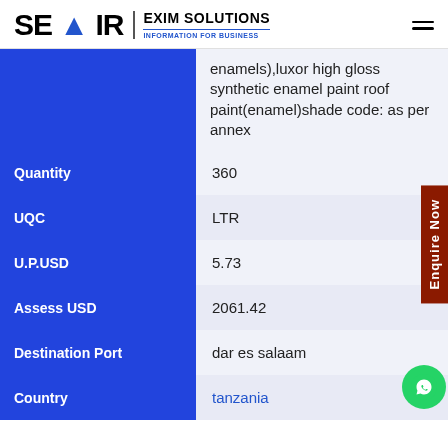SEAIR EXIM SOLUTIONS — INFORMATION FOR BUSINESS
| Field | Value |
| --- | --- |
| (description continued) | enamels),luxor high gloss synthetic enamel paint roof paint(enamel)shade code: as per annex |
| Quantity | 360 |
| UQC | LTR |
| U.P.USD | 5.73 |
| Assess USD | 2061.42 |
| Destination Port | dar es salaam |
| Country | tanzania |